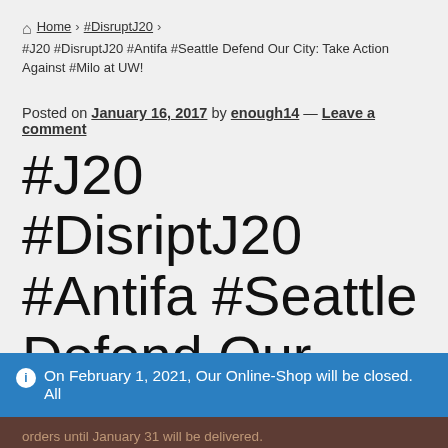Home > #DisruptJ20 > #J20 #DisruptJ20 #Antifa #Seattle Defend Our City: Take Action Against #Milo at UW!
Posted on January 16, 2017 by enough14 — Leave a comment
#J20 #DisriptJ20 #Antifa #Seattle Defend Our City: Take Action Against #Milo
On February 1, 2021, Our Online-Shop will be closed. All orders until January 31 will be delivered. Dismiss
We use cookies to ensure that we give you the best experience on our website. If you continue to use this site we will assume that you are happy with it.